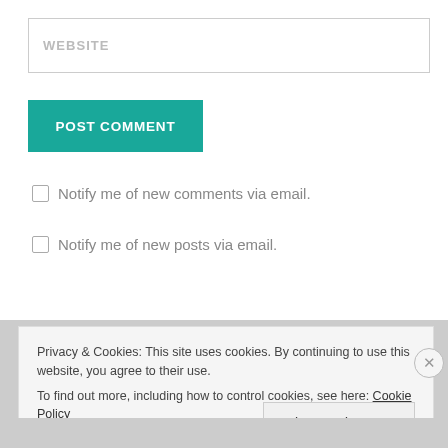[Figure (screenshot): Website input field with placeholder text WEBSITE]
[Figure (screenshot): POST COMMENT button in teal/green color]
Notify me of new comments via email.
Notify me of new posts via email.
Privacy & Cookies: This site uses cookies. By continuing to use this website, you agree to their use.
To find out more, including how to control cookies, see here: Cookie Policy
Close and accept